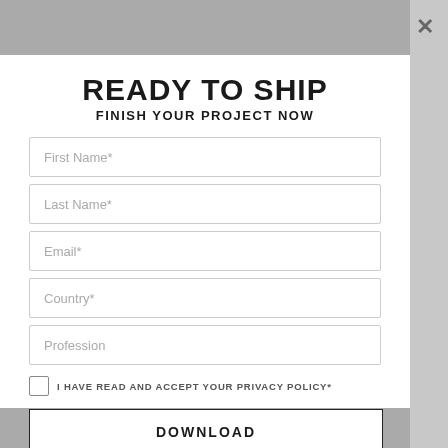[Figure (screenshot): Modal dialog overlay on a webpage with blurred background photo at top and gray bar at bottom]
READY TO SHIP
FINISH YOUR PROJECT NOW
First Name*
Last Name*
Email*
Country*
Profession
I HAVE READ AND ACCEPT YOUR PRIVACY POLICY*
DOWNLOAD